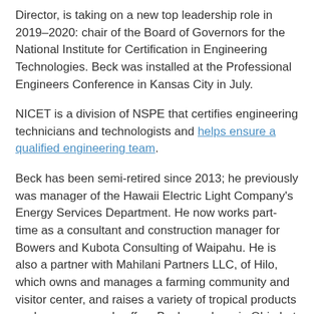Director, is taking on a new top leadership role in 2019–2020: chair of the Board of Governors for the National Institute for Certification in Engineering Technologies. Beck was installed at the Professional Engineers Conference in Kansas City in July.
NICET is a division of NSPE that certifies engineering technicians and technologists and helps ensure a qualified engineering team.
Beck has been semi-retired since 2013; he previously was manager of the Hawaii Electric Light Company's Energy Services Department. He now works part-time as a consultant and construction manager for Bowers and Kubota Consulting of Waipahu. He is also a partner with Mahilani Partners LLC, of Hilo, which owns and manages a farming community and visitor center, and raises a variety of tropical products such as cacao and coffee. Beck was born in Ohio but has been a resident of Hilo since 1979 and raised a family there.